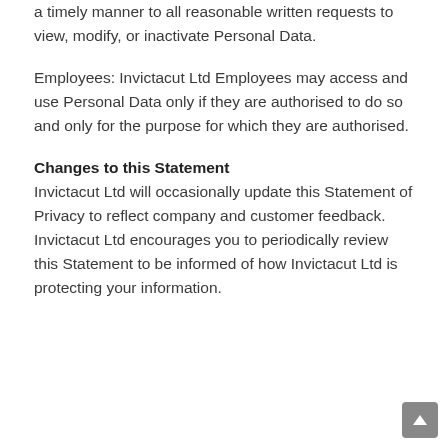a timely manner to all reasonable written requests to view, modify, or inactivate Personal Data.
Employees: Invictacut Ltd Employees may access and use Personal Data only if they are authorised to do so and only for the purpose for which they are authorised.
Changes to this Statement
Invictacut Ltd will occasionally update this Statement of Privacy to reflect company and customer feedback. Invictacut Ltd encourages you to periodically review this Statement to be informed of how Invictacut Ltd is protecting your information.